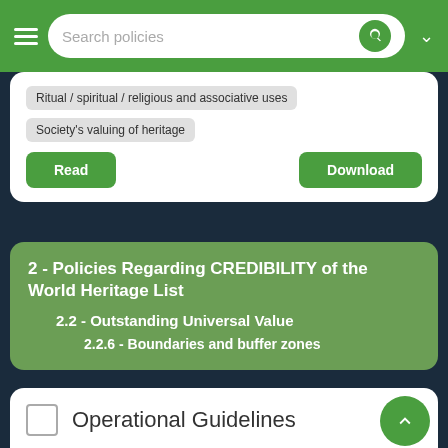Search policies
Ritual / spiritual / religious and associative uses
Society's valuing of heritage
Read | Download
2 - Policies Regarding CREDIBILITY of the World Heritage List
2.2 - Outstanding Universal Value
2.2.6 - Boundaries and buffer zones
Operational Guidelines
Paragraph 99
“The delineation of boundaries is an essential requirement in the establishment of effective protection of nominated